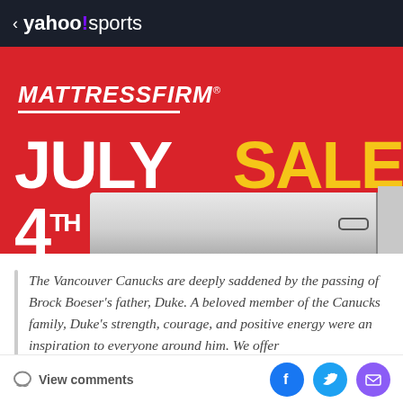< yahoo!sports
[Figure (advertisement): Mattress Firm July 4th Sale advertisement banner on red background with white and yellow text and mattress image]
The Vancouver Canucks are deeply saddened by the passing of Brock Boeser's father, Duke. A beloved member of the Canucks family, Duke's strength, courage, and positive energy were an inspiration to everyone around him. We offer
View comments | [Facebook] [Twitter] [Email]